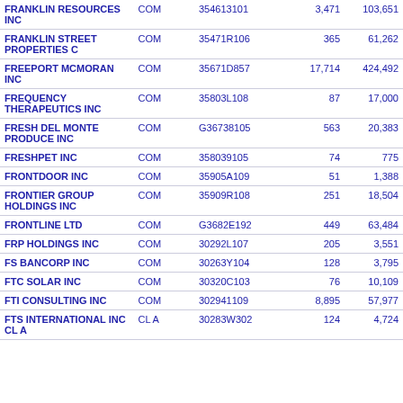| Name | Type | CUSIP | Shares | Value |
| --- | --- | --- | --- | --- |
| FRANKLIN RESOURCES INC | COM | 354613101 | 3,471 | 103,651 |
| FRANKLIN STREET PROPERTIES C | COM | 35471R106 | 365 | 61,262 |
| FREEPORT MCMORAN INC | COM | 35671D857 | 17,714 | 424,492 |
| FREQUENCY THERAPEUTICS INC | COM | 35803L108 | 87 | 17,000 |
| FRESH DEL MONTE PRODUCE INC | COM | G36738105 | 563 | 20,383 |
| FRESHPET INC | COM | 358039105 | 74 | 775 |
| FRONTDOOR INC | COM | 35905A109 | 51 | 1,388 |
| FRONTIER GROUP HOLDINGS INC | COM | 35909R108 | 251 | 18,504 |
| FRONTLINE LTD | COM | G3682E192 | 449 | 63,484 |
| FRP HOLDINGS INC | COM | 30292L107 | 205 | 3,551 |
| FS BANCORP INC | COM | 30263Y104 | 128 | 3,795 |
| FTC SOLAR INC | COM | 30320C103 | 76 | 10,109 |
| FTI CONSULTING INC | COM | 302941109 | 8,895 | 57,977 |
| FTS INTERNATIONAL INC CL A | CL A | 30283W302 | 124 | 4,724 |